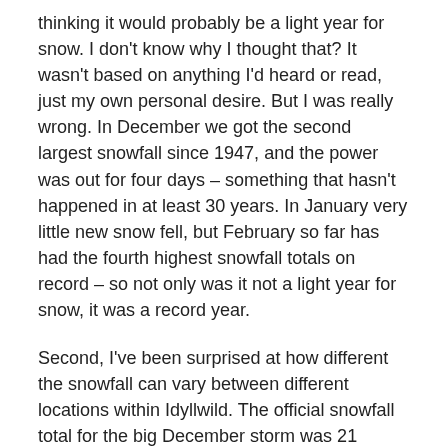thinking it would probably be a light year for snow. I don't know why I thought that? It wasn't based on anything I'd heard or read, just my own personal desire. But I was really wrong. In December we got the second largest snowfall since 1947, and the power was out for four days – something that hasn't happened in at least 30 years. In January very little new snow fell, but February so far has had the fourth highest snowfall totals on record – so not only was it not a light year for snow, it was a record year.
Second, I've been surprised at how different the snowfall can vary between different locations within Idyllwild. The official snowfall total for the big December storm was 21 inches downtown, but the elevation of the downtown area is only about 5400 feet, and where I live at 6800 feet, we got well over 36 inches in that same storm. The totals were very similar in last week's storm – downtown got 18.7 and we got just under 36 inches.